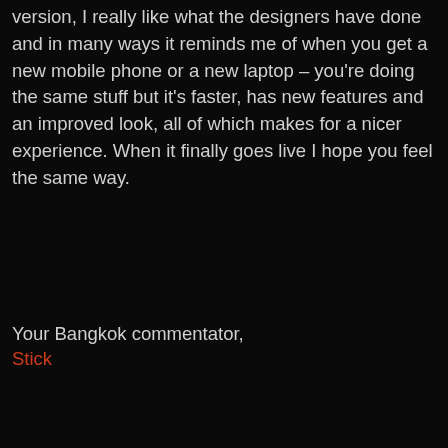version, I really like what the designers have done and in many ways it reminds me of when you get a new mobile phone or a new laptop – you're doing the same stuff but it's faster, has new features and an improved look, all of which makes for a nicer experience. When it finally goes live I hope you feel the same way.
Your Bangkok commentator,
Stick